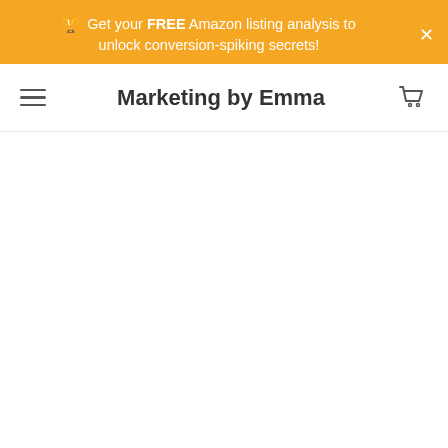🏆 Get your FREE Amazon listing analysis to unlock conversion-spiking secrets!
Marketing by Emma